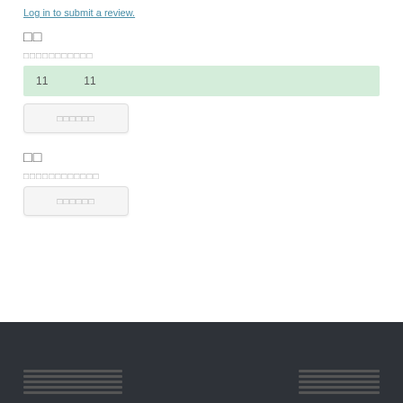Log in to submit a review.
□□
□□□□□□□□□□□
| 11 | 11 |
□□□□□□
□□
□□□□□□□□□□□□
□□□□□□